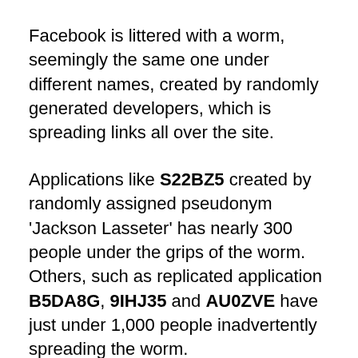Facebook is littered with a worm, seemingly the same one under different names, created by randomly generated developers, which is spreading links all over the site.
Applications like S22BZ5 created by randomly assigned pseudonym 'Jackson Lasseter' has nearly 300 people under the grips of the worm. Others, such as replicated application B5DA8G, 9IHJ35 and AU0ZVE have just under 1,000 people inadvertently spreading the worm.
Just in the last 24 hours, I have seen my own friends' list infiltrated by these worm applications which set status messages via the application without the knowledge of the profile owner, through